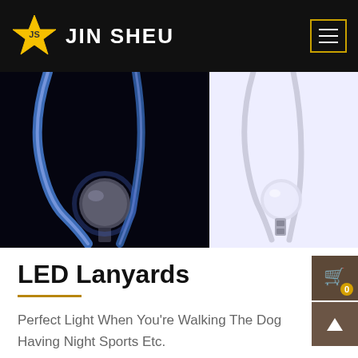JIN SHEU
[Figure (photo): Two LED lanyards product images: left shows glowing blue lanyard on dark background, right shows white lanyard on light background]
LED Lanyards
Perfect Light When You're Walking The Dog Having Night Sports Etc.